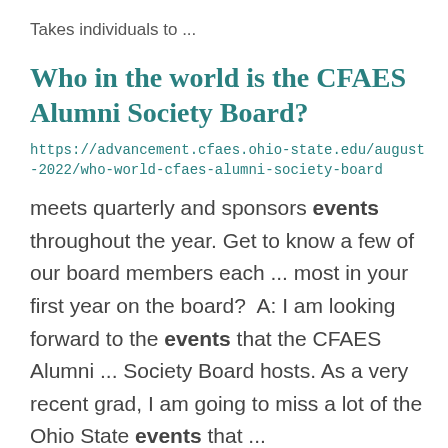Takes individuals to ...
Who in the world is the CFAES Alumni Society Board?
https://advancement.cfaes.ohio-state.edu/august-2022/who-world-cfaes-alumni-society-board
meets quarterly and sponsors events throughout the year. Get to know a few of our board members each ... most in your first year on the board?  A: I am looking forward to the events that the CFAES Alumni ... Society Board hosts. As a very recent grad, I am going to miss a lot of the Ohio State events that ...